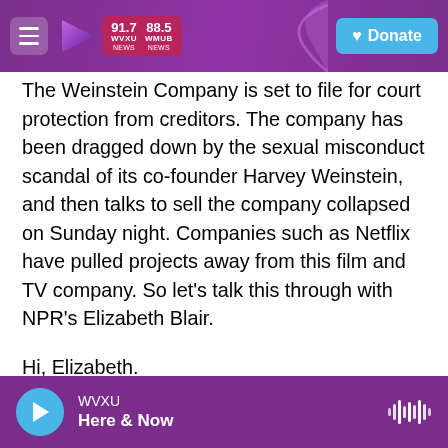91.7 WVXU NEWS | 88.5 WMUB NEWS | Donate
The Weinstein Company is set to file for court protection from creditors. The company has been dragged down by the sexual misconduct scandal of its co-founder Harvey Weinstein, and then talks to sell the company collapsed on Sunday night. Companies such as Netflix have pulled projects away from this film and TV company. So let's talk this through with NPR's Elizabeth Blair.
Hi, Elizabeth.
ELIZABETH BLAIR, BYLINE: Hi, Steve.
INSKEEP: Why did the sale go away?
WVXU | Here & Now